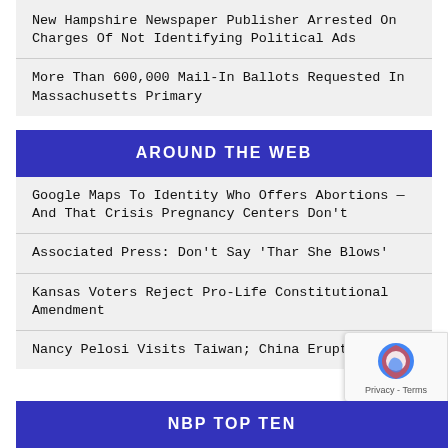New Hampshire Newspaper Publisher Arrested On Charges Of Not Identifying Political Ads
More Than 600,000 Mail-In Ballots Requested In Massachusetts Primary
AROUND THE WEB
Google Maps To Identity Who Offers Abortions — And That Crisis Pregnancy Centers Don't
Associated Press: Don't Say 'Thar She Blows'
Kansas Voters Reject Pro-Life Constitutional Amendment
Nancy Pelosi Visits Taiwan; China Erupts
NBP TOP TEN